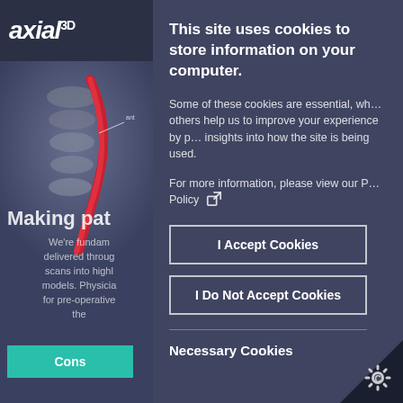[Figure (screenshot): Axial3D website background with logo and 3D medical model render showing red spinal vessels. Partially obscured by cookie consent overlay.]
This site uses cookies to store information on your computer.
Some of these cookies are essential, while others help us to improve your experience by providing insights into how the site is being used.
For more information, please view our Privacy Policy [external link icon]
I Accept Cookies
I Do Not Accept Cookies
Necessary Cookies